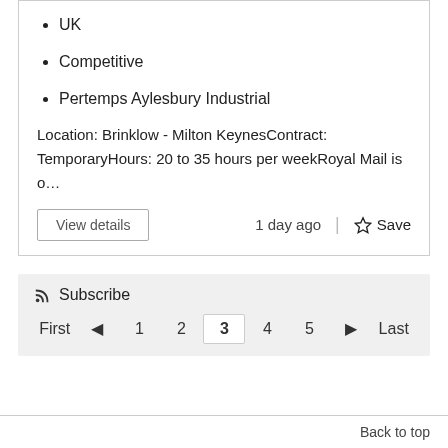UK
Competitive
Pertemps Aylesbury Industrial
Location: Brinklow - Milton KeynesContract: TemporaryHours: 20 to 35 hours per weekRoyal Mail is o…
View details
1 day ago  |  ☆ Save
Subscribe
First  ◄  1  2  3  4  5  ►  Last
Back to top